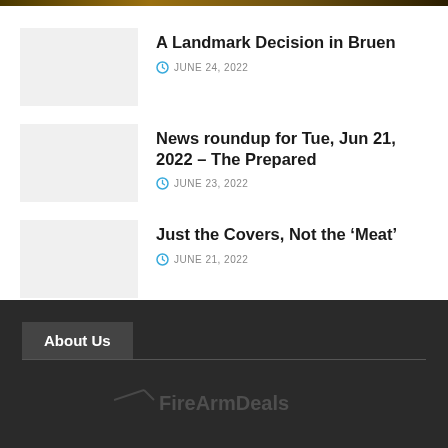A Landmark Decision in Bruen
JUNE 24, 2022
News roundup for Tue, Jun 21, 2022 – The Prepared
JUNE 23, 2022
Just the Covers, Not the ‘Meat’
JUNE 21, 2022
About Us